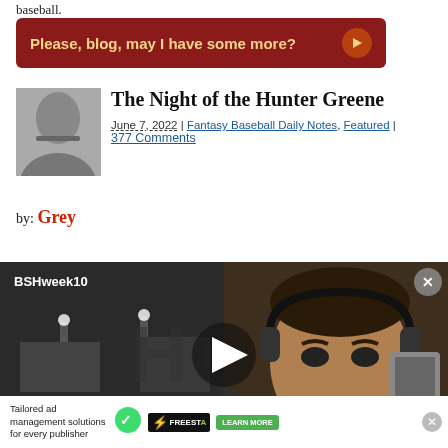baseball.
Please, blog, may I have some more?
The Night of the Hunter Greene
June 7, 2022 | Fantasy Baseball Daily Notes, Featured | 377 Comments
by: Grey
[Figure (screenshot): Video thumbnail showing a split scene: left half is a black-and-white photograph of a baseball stadium at night, right half shows an animated cartoon character of a man wearing headphones. Text overlay reads 'BSHweek10'. A white play button triangle is overlaid in the center. Bottom shows an advertisement bar for 'Tailored ad management solutions for every publisher' with Freestar logo and 'LEARN MORE' button.]